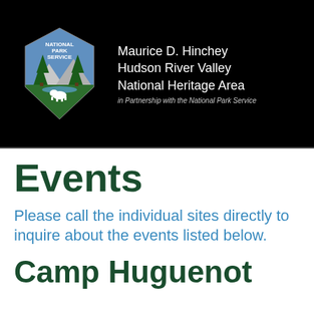[Figure (logo): National Park Service arrowhead logo with text: Maurice D. Hinchey Hudson River Valley National Heritage Area, in Partnership with the National Park Service]
Events
Please call the individual sites directly to inquire about the events listed below.
Camp Huguenot